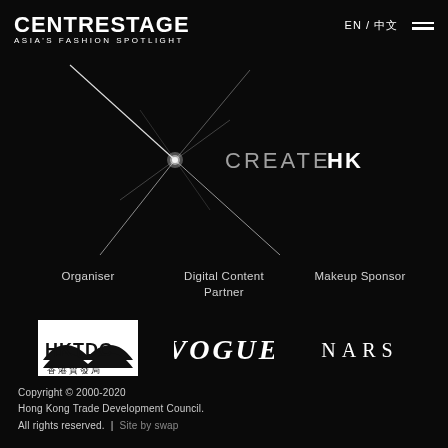[Figure (logo): CENTRESTAGE Asia's Fashion Spotlight logo in white on black background, with a star/spark graphic element]
[Figure (logo): CreateHK logo with star graphic — white bold text 'CREATE' and 'HK' on black]
Organiser
Digital Content Partner
Makeup Sponsor
[Figure (logo): HKTDC Hong Kong Trade Development Council logo with arc/hills graphic and Chinese characters 香港貿發局]
[Figure (logo): VOGUE logo in white serif italic text]
[Figure (logo): NARS logo in white thin serif letters]
Copyright © 2000-2020
Hong Kong Trade Development Council.
All rights reserved.  |  Site by swap